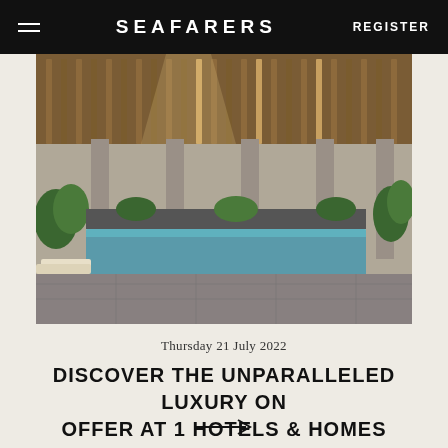SEAFARERS | REGISTER
[Figure (photo): Interior rendering of a luxury hotel pool area with wooden slatted ceiling, lounge chairs, tropical plants, and a long lap pool with marble flooring.]
Thursday 21 July 2022
DISCOVER THE UNPARALLELED LUXURY ON OFFER AT 1 HOTELS & HOMES MELBOURNE